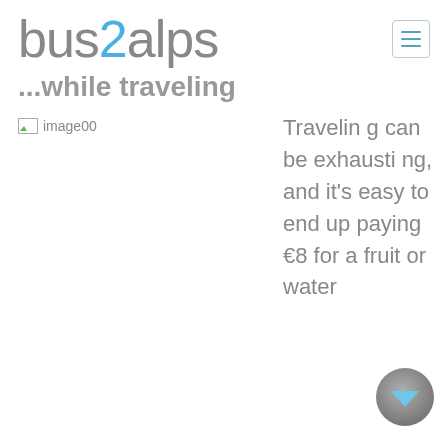bus2alps
...while traveling
[Figure (photo): image00 - a placeholder image broken icon with label 'image00']
Traveling can be exhausting, and it's easy to end up paying €8 for a fruit or water